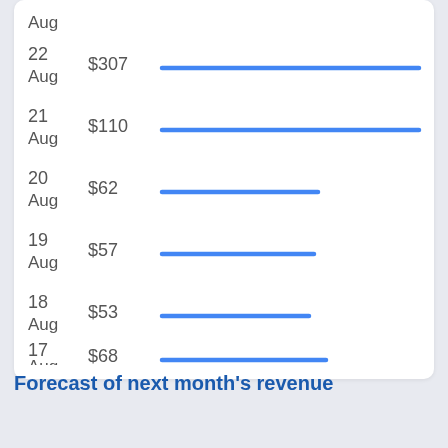[Figure (bar-chart): Daily revenue (horizontal bar chart)]
Forecast of next month's revenue